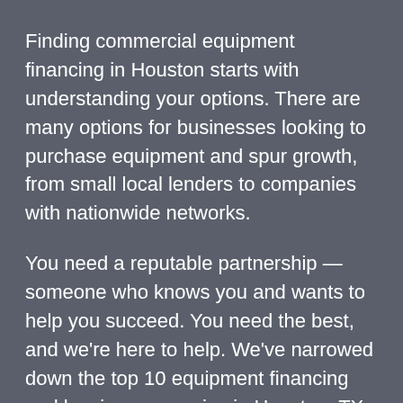Finding commercial equipment financing in Houston starts with understanding your options. There are many options for businesses looking to purchase equipment and spur growth, from small local lenders to companies with nationwide networks.
You need a reputable partnership — someone who knows you and wants to help you succeed. You need the best, and we're here to help. We've narrowed down the top 10 equipment financing and leasing companies in Houston, TX. We took into account customer satisfaction, product offerings and years of experience.
If you're on the hunt for equipment loans in Houston, consider this list your go-to guide. Start